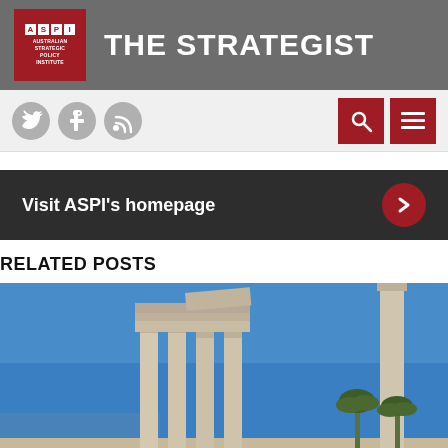THE STRATEGIST — Australian Strategic Policy Institute
[Figure (logo): ASPI logo with red box and white ASPI lettering, text Australian Strategic Policy Institute below]
[Figure (infographic): Social media icons: Twitter bird, Facebook f, RSS feed icon; navigation icons: search magnifier and hamburger menu on red backgrounds]
Visit ASPI's homepage
RELATED POSTS
[Figure (photo): Ancient Greek or Roman ruins with tall stone columns against a bright blue sky, with palm trees visible in the background and sea in the distance]